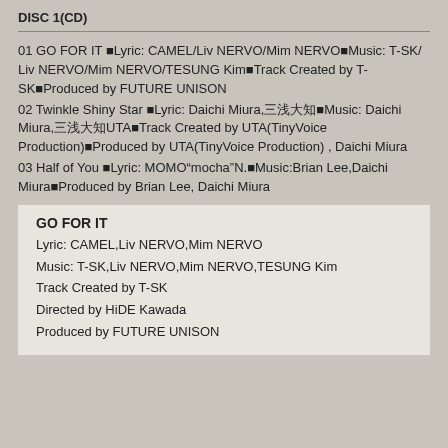DISC 1(CD)
01 GO FOR IT ■Lyric: CAMEL/Liv NERVO/Mim NERVO■Music: T-SK/ Liv NERVO/Mim NERVO/TESUNG Kim■Track Created by T-SK■Produced by FUTURE UNISON
02 Twinkle Shiny Star ■Lyric: Daichi Miura,三浦大知■Music: Daichi Miura,三浦大知UTA■Track Created by UTA(TinyVoice Production)■Produced by UTA(TinyVoice Production) , Daichi Miura
03 Half of You ■Lyric: MOMO"mocha"N.■Music:Brian Lee,Daichi Miura■Produced by Brian Lee, Daichi Miura
GO FOR IT
Lyric: CAMEL,Liv NERVO,Mim NERVO
Music: T-SK,Liv NERVO,Mim NERVO,TESUNG Kim
Track Created by T-SK
Directed by HiDE Kawada
Produced by FUTURE UNISON